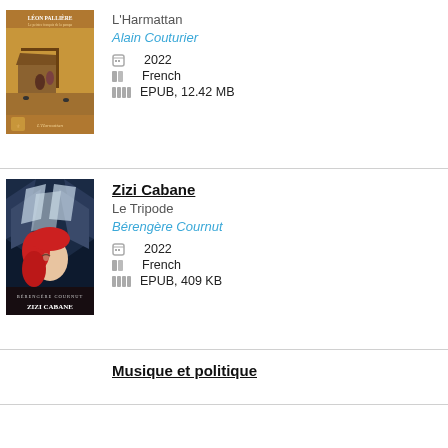[Figure (illustration): Book cover of Léon Pallière by Alain Couturier, L'Harmattan. Golden/yellow background with a painting of figures near a rustic building.]
L'Harmattan
Alain Couturier
📅: 2022
🌐: French
📁: EPUB, 12.42 MB
[Figure (illustration): Book cover of Zizi Cabane by Bérengère Cournut, Le Tripode. Dark blue/black background with a stylized illustration of a woman with red hair and birds/wings.]
Zizi Cabane
Le Tripode
Bérengère Cournut
📅: 2022
🌐: French
📁: EPUB, 409 KB
Musique et politique